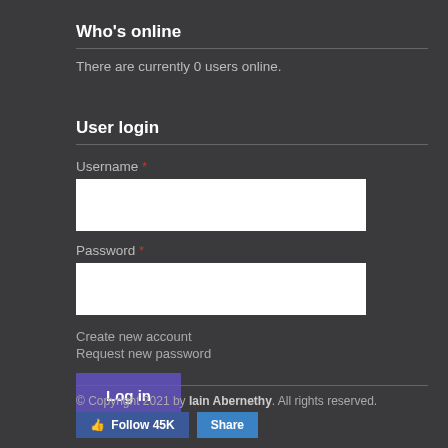Who's online
There are currently 0 users online.
User login
Username *
Password *
Create new account
Request new password
Log in
© Copyright 2021 by Iain Abernethy. All rights reserved.